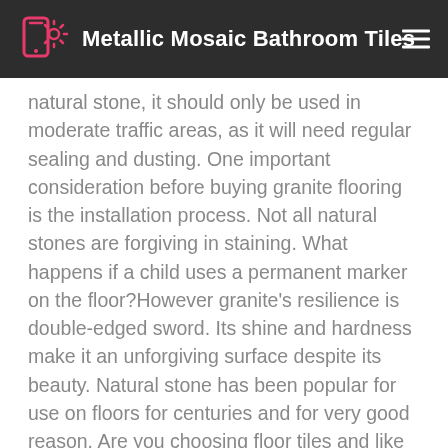Metallic Mosaic Bathroom Tiles
natural stone, it should only be used in moderate traffic areas, as it will need regular sealing and dusting. One important consideration before buying granite flooring is the installation process. Not all natural stones are forgiving in staining. What happens if a child uses a permanent marker on the floor?However granite’s resilience is double-edged sword. Its shine and hardness make it an unforgiving surface despite its beauty. Natural stone has been popular for use on floors for centuries and for very good reason. Are you choosing floor tiles and like the idea of a natural stone? Stone floor tiles will work in most rooms of the house, but are especially popular in the hallway, kitchen and bathroom. From the palest